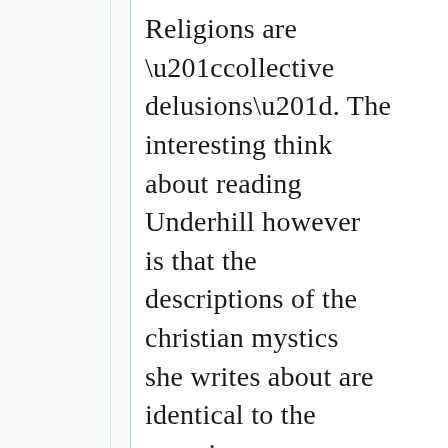Religions are “collective delusions”. The interesting think about reading Underhill however is that the descriptions of the christian mystics she writes about are identical to the experiences described by mystics of all other “religions”